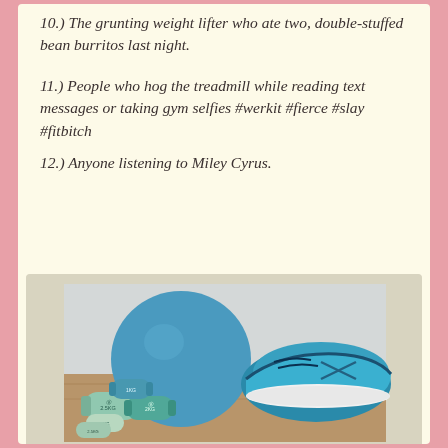10.) The grunting weight lifter who ate two, double-stuffed bean burritos last night.
11.) People who hog the treadmill while reading text messages or taking gym selfies #werkit #fierce #slay #fitbitch
12.) Anyone listening to Miley Cyrus.
[Figure (photo): Photo of gym equipment including dumbbells of various sizes (1KG, 2KG, 2.5KG) in teal/mint colors, a blue exercise ball, and a teal ASICS running shoe on a wooden surface]